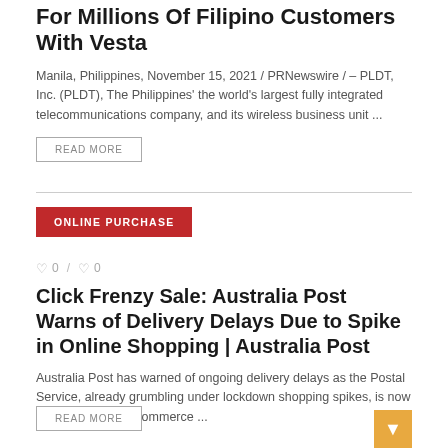For Millions Of Filipino Customers With Vesta
Manila, Philippines, November 15, 2021 / PRNewswire / – PLDT, Inc. (PLDT), The Philippines' the world's largest fully integrated telecommunications company, and its wireless business unit ...
READ MORE
ONLINE PURCHASE
0 / 0
Click Frenzy Sale: Australia Post Warns of Delivery Delays Due to Spike in Online Shopping | Australia Post
Australia Post has warned of ongoing delivery delays as the Postal Service, already grumbling under lockdown shopping spikes, is now hit by a flood of e-commerce ...